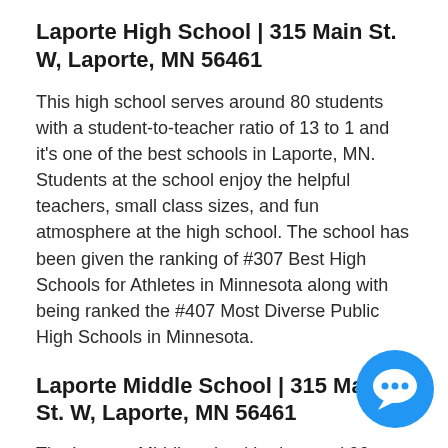Laporte High School | 315 Main St. W, Laporte, MN 56461
This high school serves around 80 students with a student-to-teacher ratio of 13 to 1 and it's one of the best schools in Laporte, MN. Students at the school enjoy the helpful teachers, small class sizes, and fun atmosphere at the high school. The school has been given the ranking of #307 Best High Schools for Athletes in Minnesota along with being ranked the #407 Most Diverse Public High Schools in Minnesota.
Laporte Middle School | 315 Main St. W, Laporte, MN 56461
The Laporte Middle school had around 90 students